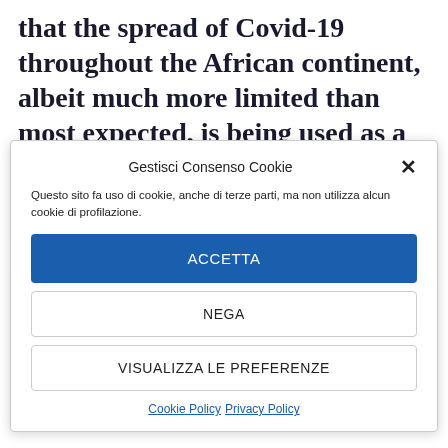that the spread of Covid-19 throughout the African continent, albeit much more limited than most expected, is being used as a tool to further reduce border crossings and mobility in general.
Gestisci Consenso Cookie
Questo sito fa uso di cookie, anche di terze parti, ma non utilizza alcun cookie di profilazione.
ACCETTA
NEGA
VISUALIZZA LE PREFERENZE
Cookie Policy   Privacy Policy